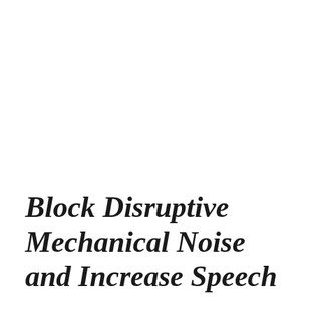Block Disruptive Mechanical Noise and Increase Speech